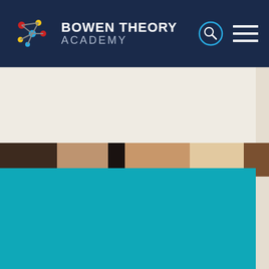[Figure (logo): Bowen Theory Academy logo with molecule/network graphic and text]
[Figure (photo): Horizontal photo strip showing hands and body parts related to Bowen therapy treatment]
[Figure (other): Teal/cyan colored content block below the photo strip, partial page view]